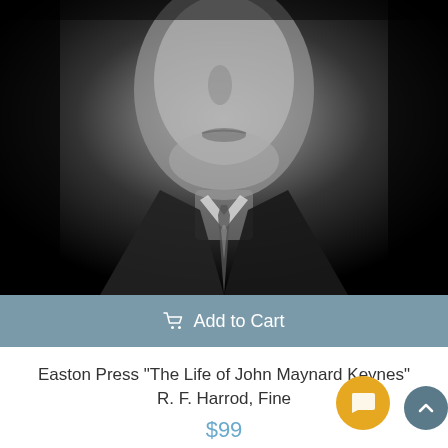[Figure (photo): Black and white close-up portrait photo of a man in a suit and tie, face partially visible from mouth to chest, dark background]
Add to Cart
Easton Press "The Life of John Maynard Keynes" R. F. Harrod, Fine
$99